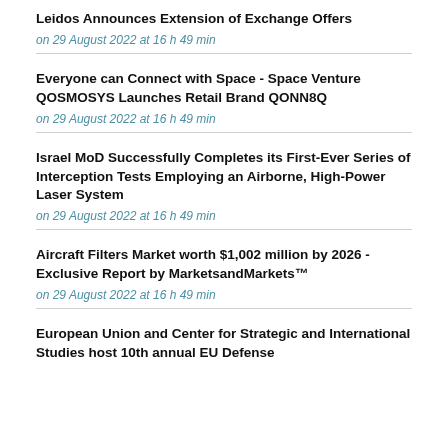Leidos Announces Extension of Exchange Offers
on 29 August 2022 at 16 h 49 min
Everyone can Connect with Space - Space Venture QOSMOSYS Launches Retail Brand QONN8Q
on 29 August 2022 at 16 h 49 min
Israel MoD Successfully Completes its First-Ever Series of Interception Tests Employing an Airborne, High-Power Laser System
on 29 August 2022 at 16 h 49 min
Aircraft Filters Market worth $1,002 million by 2026 - Exclusive Report by MarketsandMarkets™
on 29 August 2022 at 16 h 49 min
European Union and Center for Strategic and International Studies host 10th annual EU Defense